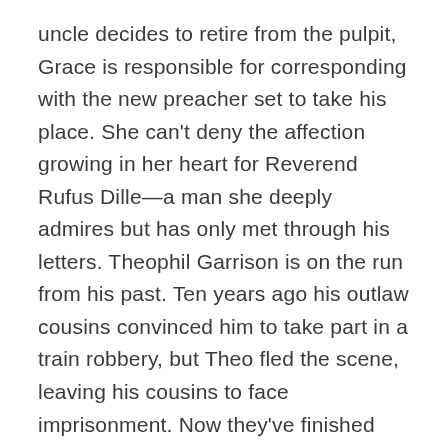uncle decides to retire from the pulpit, Grace is responsible for corresponding with the new preacher set to take his place. She can't deny the affection growing in her heart for Reverend Rufus Dille—a man she deeply admires but has only met through his letters. Theophil Garrison is on the run from his past. Ten years ago his outlaw cousins convinced him to take part in a train robbery, but Theo fled the scene, leaving his cousins to face imprisonment. Now they've finished their sentences, but the plan for vengeance has just begun. Branded a coward and running for his life, Theo has aa chance encounter that could provide him with the escape he needs. But the young man's desperate con might come at an enormous price for the tenderhearted Grace—and the entire town.